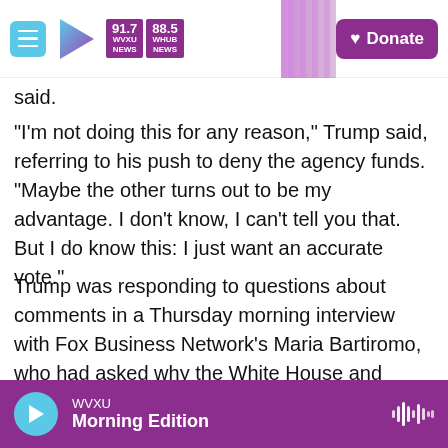[Figure (screenshot): WVXU news website navigation bar with hamburger menu, play button, frequency logos (91.7 WVXU NEWS, 88.5 WHUB NEWS), diagonal stripe accent, and purple Donate button]
said.
"I'm not doing this for any reason," Trump said, referring to his push to deny the agency funds. "Maybe the other turns out to be my advantage. I don't know, I can't tell you that. But I do know this: I just want an accurate vote."
Trump was responding to questions about comments in a Thursday morning interview with Fox Business Network's Maria Bartiromo, who had asked why the White House and congressional Democrats are still miles apart on approving a new relief deal.
[Figure (screenshot): WVXU audio player bar in purple with cyan play button, station name WVXU, show name Morning Edition, and waveform icon]